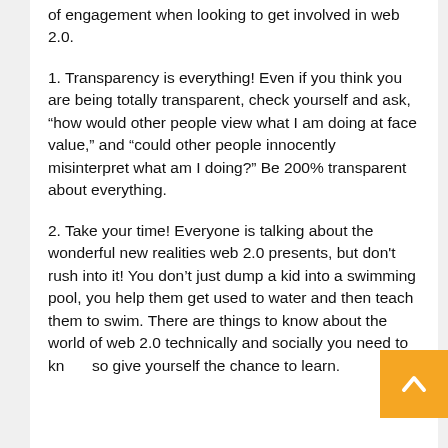of engagement when looking to get involved in web 2.0.
1. Transparency is everything! Even if you think you are being totally transparent, check yourself and ask, “how would other people view what I am doing at face value,” and “could other people innocently misinterpret what am I doing?” Be 200% transparent about everything.
2. Take your time! Everyone is talking about the wonderful new realities web 2.0 presents, but don’t rush into it! You don’t just dump a kid into a swimming pool, you help them get used to water and then teach them to swim. There are things to know about the world of web 2.0 technically and socially you need to know, so give yourself the chance to learn.